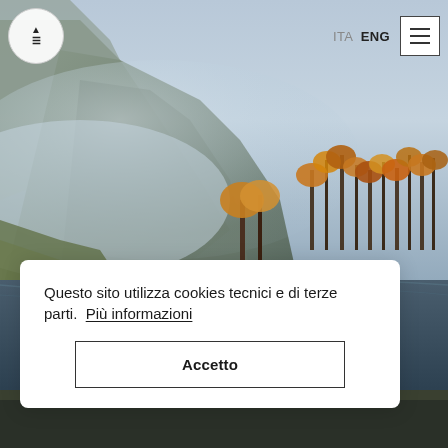[Figure (photo): Misty autumn mountain lake landscape with rocky cliffs, bare and golden-leaved trees reflected in still water, fog rising from the water surface]
[Figure (logo): Circular logo button with up-arrow symbol on white background]
ITA  ENG
[Figure (other): Hamburger menu icon — three horizontal lines in a square border]
Questo sito utilizza cookies tecnici e di terze parti.  Più informazioni
Accetto